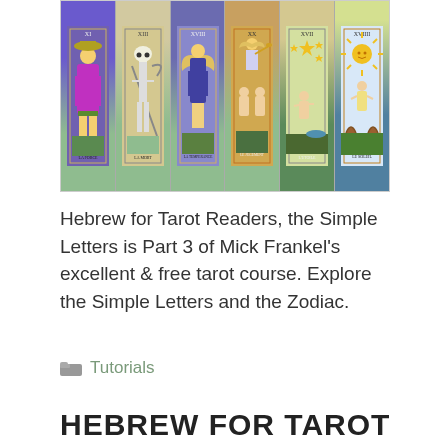[Figure (illustration): Six vintage tarot cards displayed in a horizontal row, showing colorful illustrated figures including a noblewoman, Death, a winged figure, an angel-like figure, a star scene, and a sun scene.]
Hebrew for Tarot Readers, the Simple Letters is Part 3 of Mick Frankel’s excellent & free tarot course. Explore the Simple Letters and the Zodiac.
Tutorials
HEBREW FOR TAROT